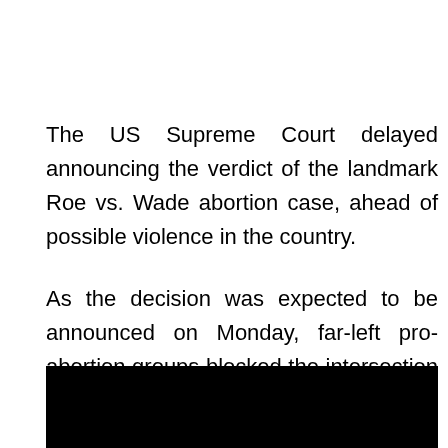The US Supreme Court delayed announcing the verdict of the landmark Roe vs. Wade abortion case, ahead of possible violence in the country.
As the decision was expected to be announced on Monday, far-left pro-abortion groups blocked the intersection in front of the Supreme Court to pressure the judiciary for a favorable outcome.
[Figure (photo): Black rectangle representing a partially visible photo or video frame at the bottom of the page]